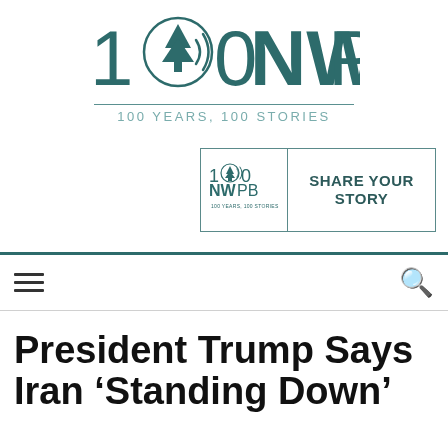[Figure (logo): NWPB 100 Years 100 Stories logo with pine tree and radio wave icon, teal color scheme]
[Figure (infographic): Advertisement banner: 100 NWPB logo on left with text SHARE YOUR STORY on right, teal border]
President Trump Says Iran ‘Standing Down’